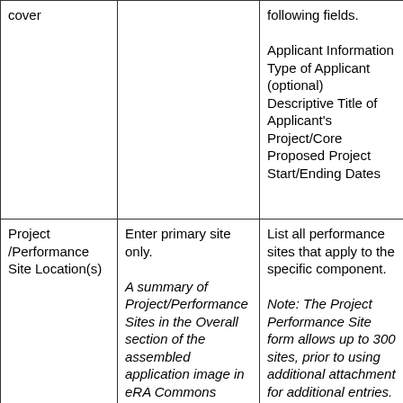| cover |  | following fields:

Applicant Information
Type of Applicant (optional)
Descriptive Title of Applicant's Project/Core
Proposed Project Start/Ending Dates |
| Project /Performance Site Location(s) | Enter primary site only.

A summary of Project/Performance Sites in the Overall section of the assembled application image in eRA Commons compiled from data collected in the other components will be generated upon | List all performance sites that apply to the specific component.

Note: The Project Performance Site form allows up to 300 sites, prior to using additional attachment for additional entries. |